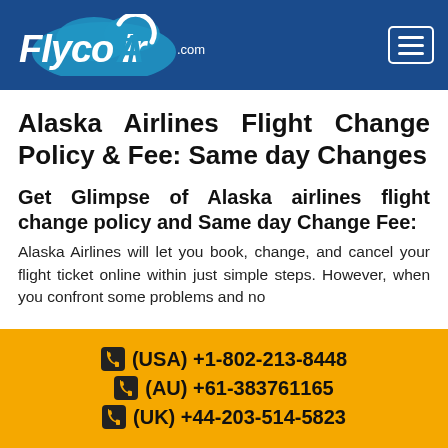FlycoAir.com
Alaska Airlines Flight Change Policy & Fee: Same day Changes
Get Glimpse of Alaska airlines flight change policy and Same day Change Fee:
Alaska Airlines will let you book, change, and cancel your flight ticket online within just simple steps. However, when you confront some problems and no
(USA) +1-802-213-8448
(AU) +61-383761165
(UK) +44-203-514-5823